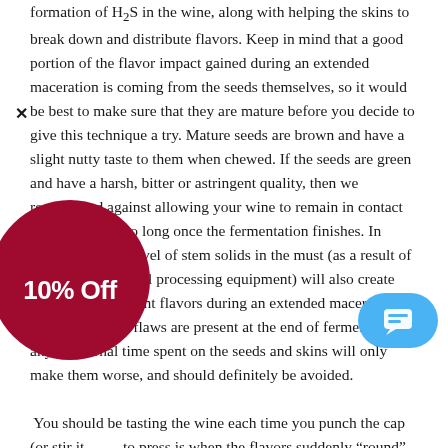formation of H2S in the wine, along with helping the skins to break down and distribute flavors. Keep in mind that a good portion of the flavor impact gained during an extended maceration is coming from the seeds themselves, so it would be best to make sure that they are mature before you decide to give this technique a try. Mature seeds are brown and have a slight nutty taste to them when chewed. If the seeds are green and have a harsh, bitter or astringent quality, then we recommend against allowing your wine to remain in contact with them for too long once the fermentation finishes. In addition, a high level of stem solids in the must (as a result of using amateur-level processing equipment) will also create green and astringent flavors during an extended maceration. If these vegetative flaws are present at the end of fermentation, any additional time spent on the seeds and skins will only make them worse, and should definitely be avoided.

You should be tasting the wine each time you punch the cap (or stir it [obscured] to press is when the flavors suddenly “round” and the [obscured] ore soft than it should for being so young. The [obscured] ule as to when an extended maceration is o[obscured] e wine tastes right to you. However, determi[obscured] exa[obscured] ent requires experience. If you are new to winemaking, [obscured] that [obscured] the basis of [obscured]